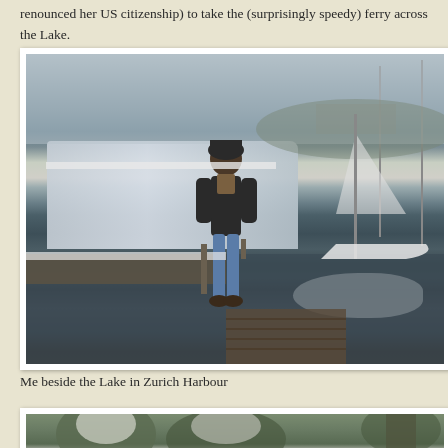renounced her US citizenship) to take the (surprisingly speedy) ferry across the Lake.
[Figure (photo): A person standing at Zurich Harbour in winter, with snow-covered docks, a ferry boat, and sailboats in the background on a grey overcast day.]
Me beside the Lake in Zurich Harbour
[Figure (photo): Partial view of a snow-covered scene, likely trees or park area in Zurich, partially visible at the bottom of the page.]